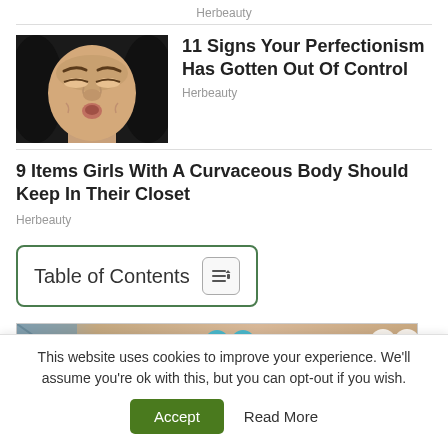Herbeauty
[Figure (photo): Person making a scrunched, frustrated facial expression with black hair]
11 Signs Your Perfectionism Has Gotten Out Of Control
Herbeauty
9 Items Girls With A Curvaceous Body Should Keep In Their Closet
Herbeauty
Table of Contents
[Figure (photo): Advertisement banner strip with peach/skin-tone background and circular elements]
This website uses cookies to improve your experience. We'll assume you're ok with this, but you can opt-out if you wish.
Accept
Read More